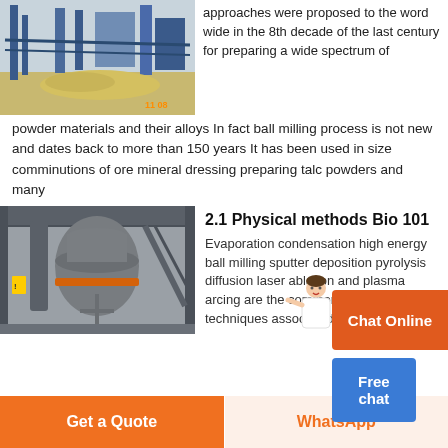[Figure (photo): Industrial facility exterior with blue metal structures and conveyors, yellowish material on ground, timestamp 11:08]
approaches were proposed to the word wide in the 8th decade of the last century for preparing a wide spectrum of powder materials and their alloys In fact ball milling process is not new and dates back to more than 150 years It has been used in size comminutions of ore mineral dressing preparing talc powders and many
[Figure (photo): Industrial ball mill machine inside a large factory building, gray cylindrical equipment with orange band]
2.1 Physical methods Bio 101
Evaporation condensation high energy ball milling sputter deposition pyrolysis diffusion laser ablation and plasma arcing are the commonly used techniques associated with the physical
Get a Quote
WhatsApp